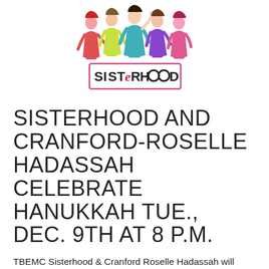[Figure (illustration): Stylized cartoon illustration of a group of women celebrating, with colorful clothing and festive poses, above a pink-bordered rectangular logo that reads 'SISTERHOOD' in a stylized font with circular letter O's.]
SISTERHOOD AND CRANFORD-ROSELLE HADASSAH CELEBRATE HANUKKAH TUE., DEC. 9TH AT 8 P.M.
TBEMC Sisterhood & Cranford Roselle Hadassah will celebrate Hanukkah with Israeli Dancing, delicious Hanukkah foods & more on Tuesday, Dec. 9 at 8:00 p.m. at TBEMC. See